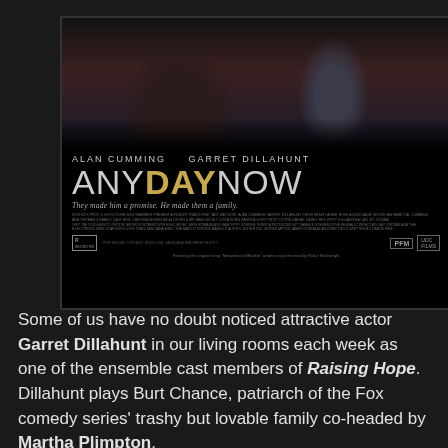[Figure (photo): Movie poster for 'Any Day Now' featuring Alan Cumming and Garret Dillahunt. Top half shows close-up photo of the two actors. Bottom half is black with title text, actor names, tagline, credits, rating, and distributor logos.]
Some of us have no doubt noticed attractive actor Garret Dillahunt in our living rooms each week as one of the ensemble cast members of Raising Hope. Dillahunt plays Burt Chance, patriarch of the Fox comedy series' trashy but lovable family co-headed by Martha Plimpton.